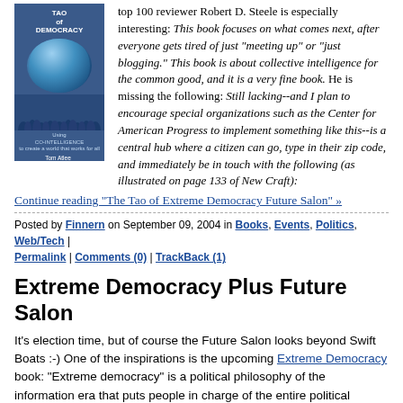[Figure (illustration): Book cover for 'Tao of Democracy' showing a globe with a crowd of people beneath it on a dark blue background]
top 100 reviewer Robert D. Steele is especially interesting: This book focuses on what comes next, after everyone gets tired of just "meeting up" or "just blogging." This book is about collective intelligence for the common good, and it is a very fine book. He is missing the following: Still lacking--and I plan to encourage special organizations such as the Center for American Progress to implement something like this--is a central hub where a citizen can go, type in their zip code, and immediately be in touch with the following (as illustrated on page 133 of New Craft):
Continue reading "The Tao of Extreme Democracy Future Salon" »
Posted by Finnern on September 09, 2004 in Books, Events, Politics, Web/Tech | Permalink | Comments (0) | TrackBack (1)
Extreme Democracy Plus Future Salon
It's election time, but of course the Future Salon looks beyond Swift Boats :-) One of the inspirations is the upcoming Extreme Democracy book: "Extreme democracy" is a political philosophy of the information era that puts people in charge of the entire political process. It suggests a deliberative process that places total confidence in the people, opening the policy-making process to many centers of power through